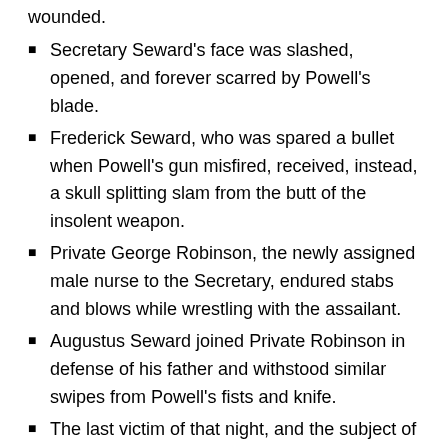wounded.
Secretary Seward's face was slashed, opened, and forever scarred by Powell's blade.
Frederick Seward, who was spared a bullet when Powell's gun misfired, received, instead, a skull splitting slam from the butt of the insolent weapon.
Private George Robinson, the newly assigned male nurse to the Secretary, endured stabs and blows while wrestling with the assailant.
Augustus Seward joined Private Robinson in defense of his father and withstood similar swipes from Powell's fists and knife.
The last victim of that night, and the subject of this article, is an oft forgotten State Department messenger named Emerick Hansell.
For in the next detail before our investigation stood here will